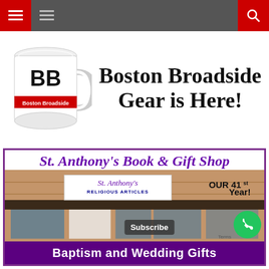Navigation bar with home, menu, and search icons
[Figure (photo): Boston Broadside branded coffee mug with BB logo and Boston Broadside text on red stripe]
Boston Broadside Gear is Here!
[Figure (photo): Advertisement for St. Anthony's Book & Gift Shop showing store front with sign reading St. Anthony's Religious Articles, OUR 41st Year!, and bottom band reading Baptism and Wedding Gifts]
St. Anthony's Book & Gift Shop
OUR 41st Year!
Baptism and Wedding Gifts
Subscribe
Terms